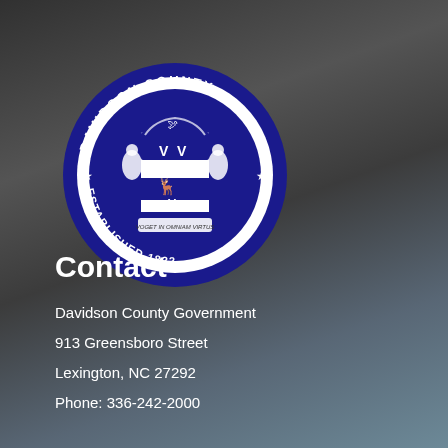[Figure (logo): Davidson County seal/logo - circular blue seal with 'DAVIDSON COUNTY' text around top, 'ESTABLISHED 1822' around bottom, coat of arms in center with shield, animals, and decorative elements, white and blue with red accent]
Contact
Davidson County Government
913 Greensboro Street
Lexington, NC 27292
Phone: 336-242-2000